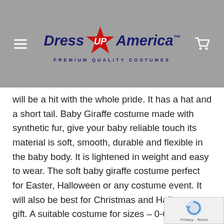[Figure (logo): Dress Up America logo with red star and 'UP' text, navy blue stylized text reading 'Dress Up America', tagline 'PREMIUM QUALITY COSTUMES']
will be a hit with the whole pride. It has a hat and a short tail. Baby Giraffe costume made with synthetic fur, give your baby reliable touch its material is soft, smooth, durable and flexible in the baby body. It is lightened in weight and easy to wear. The soft baby giraffe costume perfect for Easter, Halloween or any costume event. It will also be best for Christmas and Halloween gift. A suitable costume for sizes – 0-6 Months, 6-12 Months and 12-24 Months
Additional Features:
Great for Halloween stage, kids parties or one...